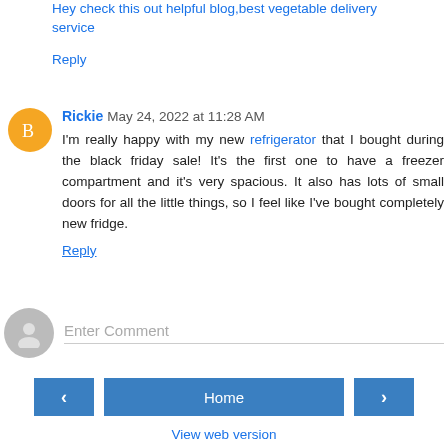Hey check this out helpful blog,best vegetable delivery service
Reply
Rickie May 24, 2022 at 11:28 AM
I'm really happy with my new refrigerator that I bought during the black friday sale! It's the first one to have a freezer compartment and it's very spacious. It also has lots of small doors for all the little things, so I feel like I've bought completely new fridge.
Reply
Enter Comment
Home
View web version